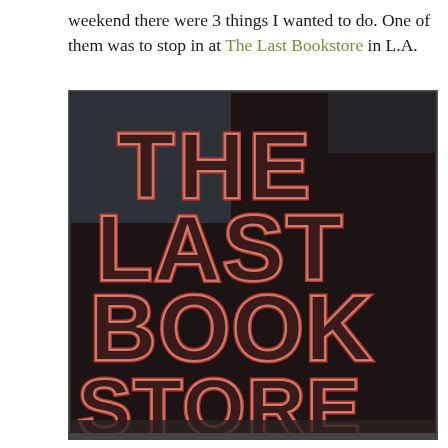weekend there were 3 things I wanted to do. One of them was to stop in at The Last Bookstore in L.A.
[Figure (photo): Photograph of The Last Bookstore neon sign. Large red neon lettering spells out 'THE LAST BOOK STORE' on a dark background inside a glass-fronted display.]